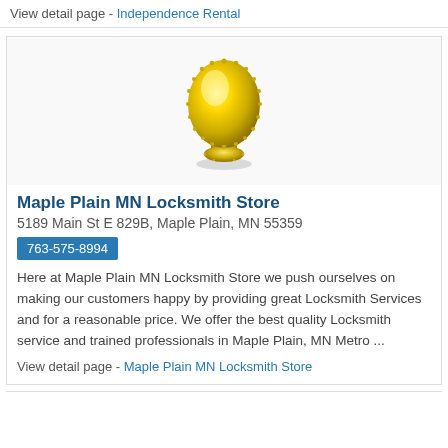View detail page - Independence Rental
[Figure (photo): A brass/gold decorative door knob with oval shape and beaded edge detail, photographed on white background]
Maple Plain MN Locksmith Store
5189 Main St E 829B, Maple Plain, MN 55359
763-575-8994
Here at Maple Plain MN Locksmith Store we push ourselves on making our customers happy by providing great Locksmith Services and for a reasonable price. We offer the best quality Locksmith service and trained professionals in Maple Plain, MN Metro ...
View detail page - Maple Plain MN Locksmith Store